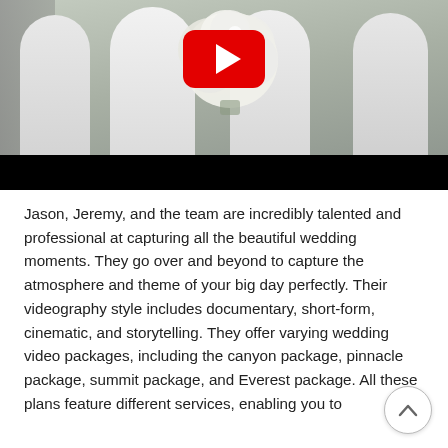[Figure (photo): A video thumbnail showing bridesmaids in white dresses holding white floral bouquets, with a YouTube play button overlay. A black bar appears at the bottom of the video frame.]
Jason, Jeremy, and the team are incredibly talented and professional at capturing all the beautiful wedding moments. They go over and beyond to capture the atmosphere and theme of your big day perfectly. Their videography style includes documentary, short-form, cinematic, and storytelling. They offer varying wedding video packages, including the canyon package, pinnacle package, summit package, and Everest package. All these plans feature different services, enabling you to